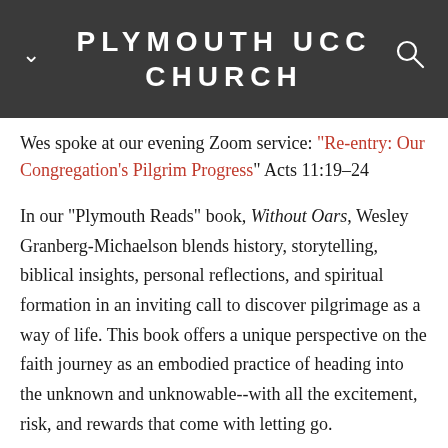PLYMOUTH UCC CHURCH
Wes spoke at our evening Zoom service: "Re-entry: Our Congregation's Pilgrim Progress" Acts 11:19-24
In our “Plymouth Reads” book, Without Oars, Wesley Granberg-Michaelson blends history, storytelling, biblical insights, personal reflections, and spiritual formation in an inviting call to discover pilgrimage as a way of life. This book offers a unique perspective on the faith journey as an embodied practice of heading into the unknown and unknowable--with all the excitement, risk, and rewards that come with letting go.
Rev. Richard Rohr, director of the Center for Action and Contemplation, says, "Wes Granberg-Michaelson